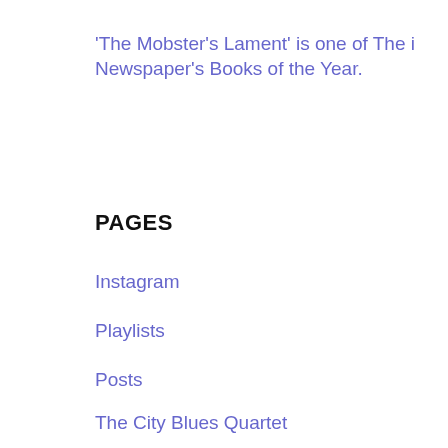'The Mobster's Lament' is one of The i Newspaper's Books of the Year.
PAGES
Instagram
Playlists
Posts
The City Blues Quartet
Sunset Swing
Gallery
Book Notes